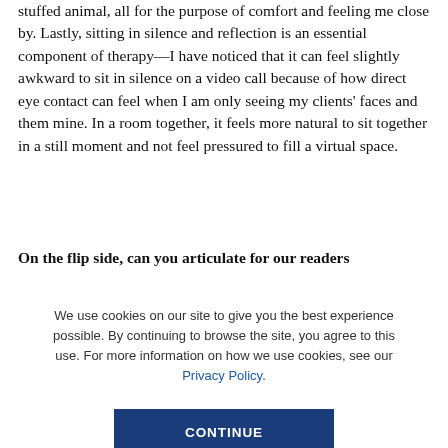stuffed animal, all for the purpose of comfort and feeling me close by. Lastly, sitting in silence and reflection is an essential component of therapy—I have noticed that it can feel slightly awkward to sit in silence on a video call because of how direct eye contact can feel when I am only seeing my clients' faces and them mine. In a room together, it feels more natural to sit together in a still moment and not feel pressured to fill a virtual space.
On the flip side, can you articulate for our readers
We use cookies on our site to give you the best experience possible. By continuing to browse the site, you agree to this use. For more information on how we use cookies, see our Privacy Policy.
CONTINUE